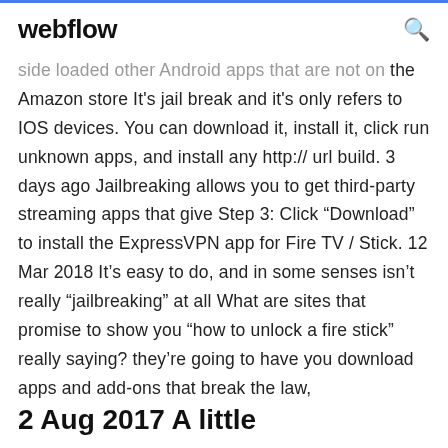webflow
side loaded other Android apps that are not on the Amazon store It's jail break and it's only refers to IOS devices. You can download it, install it, click run unknown apps, and install any http:// url build. 3 days ago Jailbreaking allows you to get third-party streaming apps that give Step 3: Click “Download” to install the ExpressVPN app for Fire TV / Stick. 12 Mar 2018 It’s easy to do, and in some senses isn’t really “jailbreaking” at all What are sites that promise to show you “how to unlock a fire stick” really saying? they’re going to have you download apps and add-ons that break the law,
2 Aug 2017 A little